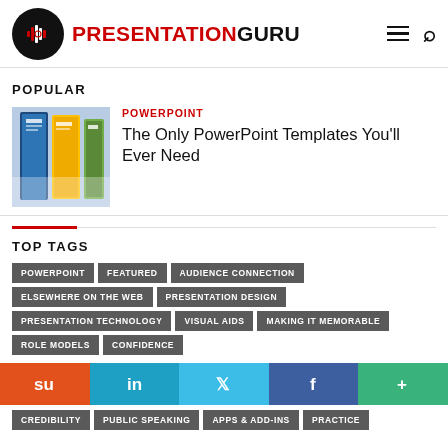[Figure (logo): Presentation Guru logo with black circle icon and red/black text]
POPULAR
[Figure (photo): Thumbnail image showing PowerPoint template booklets/covers]
POWERPOINT
The Only PowerPoint Templates You'll Ever Need
TOP TAGS
POWERPOINT
FEATURED
AUDIENCE CONNECTION
ELSEWHERE ON THE WEB
PRESENTATION DESIGN
PRESENTATION TECHNOLOGY
VISUAL AIDS
MAKING IT MEMORABLE
ROLE MODELS
CONFIDENCE
[Figure (infographic): Social sharing bar with StumbleUpon, LinkedIn, Twitter, Facebook, and More buttons]
CREDIBILITY
PUBLIC SPEAKING
APPS & ADD-INS
PRACTICE